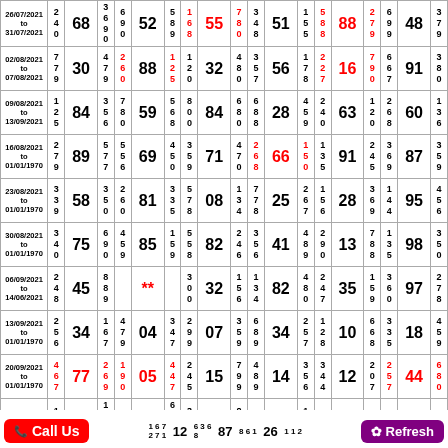| Date | sm | big | sm | sm | big | sm | sm | big | sm | sm | big | sm | sm | big | sm | sm | big | sm |
| --- | --- | --- | --- | --- | --- | --- | --- | --- | --- | --- | --- | --- | --- | --- | --- | --- | --- | --- |
| 26/07/2021 to 31/07/2021 | 2 4 0 | 68 | 3 6 9 0 | 6 9 0 | 52 | 5 8 9 | 1 6 8 | 55 | 7 8 0 | 3 4 8 | 51 | 1 5 5 | 5 8 8 | 88 | 2 7 9 | 6 9 9 | 48 | 3 7 9 |
| 02/08/2021 to 07/08/2021 | 7 7 9 | 30 | 4 7 9 | 2 6 0 | 88 | 1 2 5 | 1 2 0 | 32 | 4 8 0 | 3 5 7 | 56 | 1 7 8 | 2 2 7 | 16 | 7 9 0 | 6 6 7 | 91 | 3 8 0 |
| 09/08/2021 to 13/09/2021 | 1 2 5 | 84 | 3 5 6 | 7 8 0 | 59 | 5 6 8 | 8 0 0 | 84 | 6 8 0 | 6 8 8 | 28 | 4 5 9 | 2 4 0 | 63 | 1 2 0 | 2 6 8 | 60 | 1 3 6 |
| 16/08/2021 to 01/01/1970 | 2 7 9 | 89 | 5 7 7 | 5 5 6 | 69 | 4 5 0 | 3 5 9 | 71 | 4 7 0 | 2 6 8 | 66 | 1 5 0 | 1 3 5 | 91 | 2 4 5 | 3 6 9 | 87 | 3 5 9 |
| 23/08/2021 to 01/01/1970 | 3 3 9 | 58 | 3 5 0 | 2 6 0 | 81 | 3 3 5 | 5 7 8 | 08 | 1 3 4 | 7 7 8 | 25 | 2 6 7 | 1 5 6 | 28 | 3 6 9 | 1 4 4 | 95 | 4 5 6 |
| 30/08/2021 to 01/01/1970 | 3 4 0 | 75 | 6 9 0 | 4 5 9 | 85 | 1 5 9 | 5 5 8 | 82 | 2 4 6 | 3 5 6 | 41 | 4 8 9 | 2 9 0 | 13 | 7 8 8 | 1 3 5 | 98 | 3 5 0 |
| 06/09/2021 to 14/06/2021 | 2 4 8 | 45 | 8 8 9 |  | ** |  | 3 0 0 | 32 | 1 5 6 | 1 3 4 | 82 | 4 8 0 | 2 4 7 | 35 | 1 5 9 | 3 6 0 | 97 | 2 7 8 |
| 13/09/2021 to 01/01/1970 | 2 5 6 | 34 | 1 6 7 | 4 7 9 | 04 | 3 4 7 | 2 9 9 | 07 | 3 5 9 | 6 8 9 | 34 | 2 5 7 | 1 2 8 | 10 | 6 6 8 | 3 3 5 | 18 | 4 5 9 |
| 20/09/2021 to 01/01/1970 | 4 6 7 | 77 | 2 6 9 | 1 9 0 | 05 | 4 4 7 | 2 4 5 | 15 | 7 9 9 | 4 8 9 | 14 | 3 5 6 | 3 4 4 | 12 | 2 0 7 | 2 5 7 | 44 | 6 8 0 |
Call Us | 1 6 7 2 7 1 ... 12 | 6 3 6 8 ... 87 | 8 6 1 ... | 1 5 ... 26 | 1 1 2 ... | Refresh